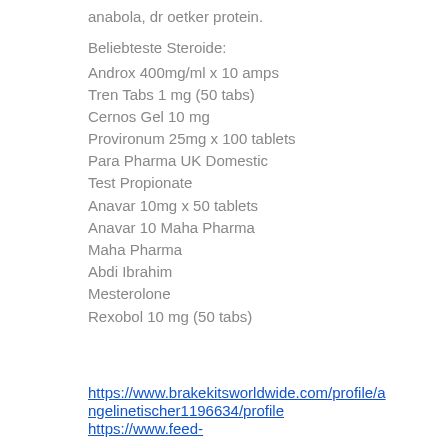anabola, dr oetker protein.
Beliebteste Steroide:
Androx 400mg/ml x 10 amps
Tren Tabs 1 mg (50 tabs)
Cernos Gel 10 mg
Provironum 25mg x 100 tablets
Para Pharma UK Domestic
Test Propionate
Anavar 10mg x 50 tablets
Anavar 10 Maha Pharma
Maha Pharma
Abdi Ibrahim
Mesterolone
Rexobol 10 mg (50 tabs)
https://www.brakekitsworldwide.com/profile/angelinetischer1196634/profile https://www.feed-